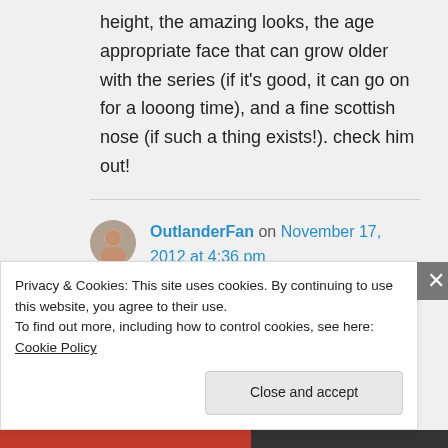height, the amazing looks, the age appropriate face that can grow older with the series (if it's good, it can go on for a looong time), and a fine scottish nose (if such a thing exists!). check him out!
OutlanderFan on November 17, 2012 at 4:36 pm
Privacy & Cookies: This site uses cookies. By continuing to use this website, you agree to their use.
To find out more, including how to control cookies, see here: Cookie Policy